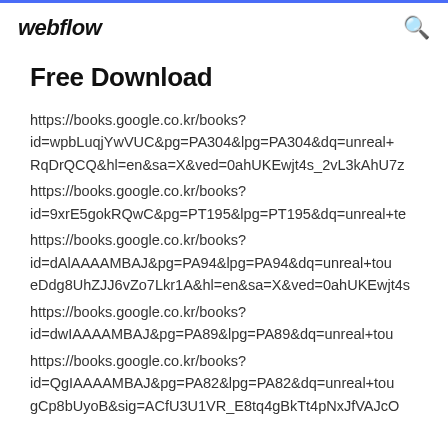webflow
Free Download
https://books.google.co.kr/books?
id=wpbLuqjYwVUC&pg=PA304&lpg=PA304&dq=unreal+RqDrQCQ&hl=en&sa=X&ved=0ahUKEwjt4s_2vL3kAhU7z
https://books.google.co.kr/books?
id=9xrE5gokRQwC&pg=PT195&lpg=PT195&dq=unreal+te
https://books.google.co.kr/books?
id=dAlAAAAMBAJ&pg=PA94&lpg=PA94&dq=unreal+tou
eDdg8UhZJJ6vZo7Lkr1A&hl=en&sa=X&ved=0ahUKEwjt4s
https://books.google.co.kr/books?
id=dwIAAAAMBAJ&pg=PA89&lpg=PA89&dq=unreal+tou
https://books.google.co.kr/books?
id=QgIAAAAMBAJ&pg=PA82&lpg=PA82&dq=unreal+tou
gCp8bUyoB&sig=ACfU3U1VR_E8tq4gBkTt4pNxJfVAJcO